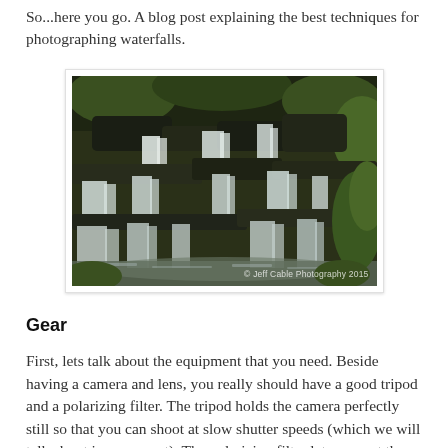So...here you go. A blog post explaining the best techniques for photographing waterfalls.
[Figure (photo): A multi-tiered waterfall flowing over dark mossy rocks surrounded by lush green vegetation, with silky smooth water effect from long exposure. Watermark reads '© Jeff Cable Photography 2015'.]
Gear
First, lets talk about the equipment that you need. Beside having a camera and lens, you really should have a good tripod and a polarizing filter. The tripod holds the camera perfectly still so that you can shoot at slow shutter speeds (which we will talk about in a moment). The polarizing filter lets you cut the glare off the tops of the still water and the wet rocks surrounding the waterfall. The filter also blocks